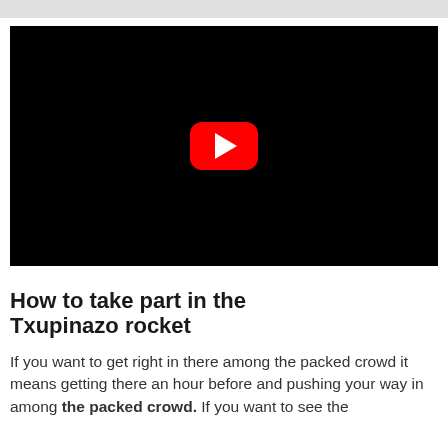[Figure (screenshot): YouTube video embed with black background and red YouTube play button in the center]
How to take part in the Txupinazo rocket
If you want to get right in there among the packed crowd it means getting there an hour before and pushing your way in among the packed crowd. If you want to see the